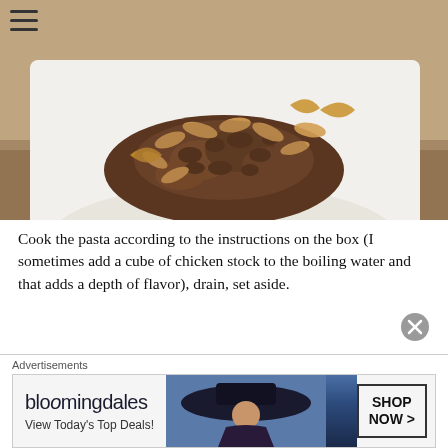[Figure (photo): A white rectangular plate with pasta (small shell-shaped), topped with browned ground meat and toasted almonds/nuts, photographed from a slight angle on a granite countertop.]
Cook the pasta according to the instructions on the box (I sometimes add a cube of chicken stock to the boiling water and that adds a depth of flavor), drain, set aside.
In a bowl mix the yogurt, sour cream, mint, garlic (do
Advertisements
[Figure (screenshot): Bloomingdale's advertisement banner: 'bloomingdales / View Today's Top Deals!' with a model wearing a large brimmed hat, and a 'SHOP NOW >' button.]